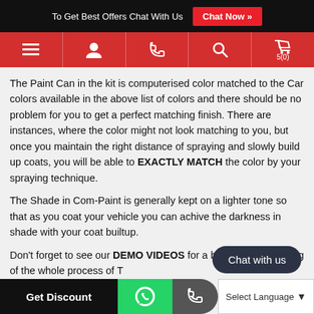To Get Best Offers Chat With Us  Chat Now »
[Figure (screenshot): Red navigation bar with menu, user, phone, search, and cart icons]
The Paint Can in the kit is computerised color matched to the Car colors available in the above list of colors and there should be no problem for you to get a perfect matching finish. There are instances, where the color might not look matching to you, but once you maintain the right distance of spraying and slowly build up coats, you will be able to EXACTLY MATCH the color by your spraying technique.
The Shade in Com-Paint is generally kept on a lighter tone so that as you coat your vehicle you can achive the darkness in shade with your coat builtup.
Don't forget to see our DEMO VIDEOS for a better understanding of the whole process of T
Get Discount   [WhatsApp icon]   [Call icon]   Select Language ▾